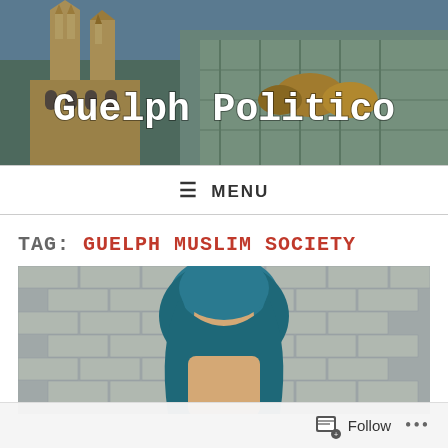[Figure (photo): Aerial photo of Guelph city with gothic church spires in foreground and city streets in background. Large white text overlay reads 'Guelph Politico'.]
≡ MENU
TAG: GUELPH MUSLIM SOCIETY
[Figure (photo): Photo of a person wearing a teal/blue hijab against a brick wall background, cropped to show head and upper body.]
Follow ...